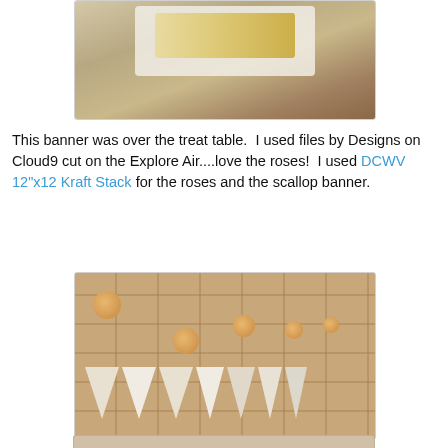[Figure (photo): Top-down photo of a white plate with a rolled cake drizzled with chocolate and chocolate-covered strawberries on a table setting]
This banner was over the treat table.  I used files by Designs on Cloud9 cut on the Explore Air....love the roses!  I used DCWV 12"x12 Kraft Stack for the roses and the scallop banner.
[Figure (photo): A decorative bunting banner with kraft paper scallop pennants and paper roses displayed against a tile background]
[Figure (photo): Partially visible third photo at the bottom of the page]